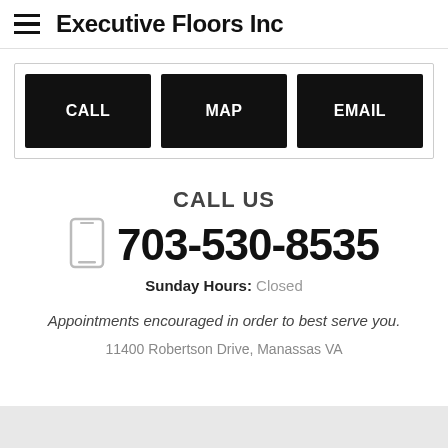Executive Floors Inc
[Figure (infographic): Three black buttons labeled CALL, MAP, EMAIL side by side inside a bordered box]
CALL US
703-530-8535
Sunday Hours: Closed
Appointments encouraged in order to best serve you.
11400 Robertson Drive, Manassas VA